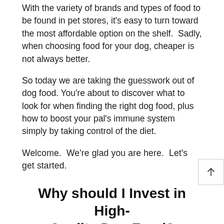With the variety of brands and types of food to be found in pet stores, it's easy to turn toward the most affordable option on the shelf.  Sadly, when choosing food for your dog, cheaper is not always better.
So today we are taking the guesswork out of dog food. You're about to discover what to look for when finding the right dog food, plus how to boost your pal's immune system simply by taking control of the diet.
Welcome.  We're glad you are here.  Let's get started.
Why should I Invest in High-Quality Dog Food?
Not all dog foods are equal.